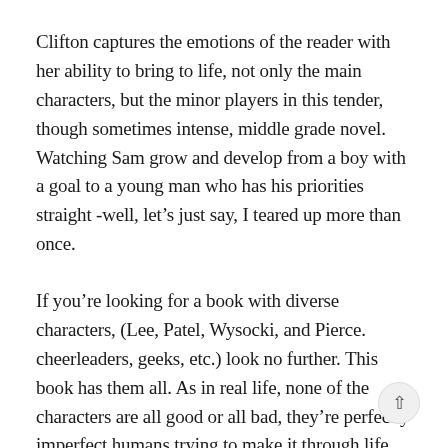Clifton captures the emotions of the reader with her ability to bring to life, not only the main characters, but the minor players in this tender, though sometimes intense, middle grade novel. Watching Sam grow and develop from a boy with a goal to a young man who has his priorities straight -well, let's just say, I teared up more than once.
If you're looking for a book with diverse characters, (Lee, Patel, Wysocki, and Pierce. cheerleaders, geeks, etc.) look no further. This book has them all. As in real life, none of the characters are all good or all bad, they're perfectly imperfect humans trying to make it through life while having a little fun in the process.
Oh, and then there's Max. Old, faithful, not-so-